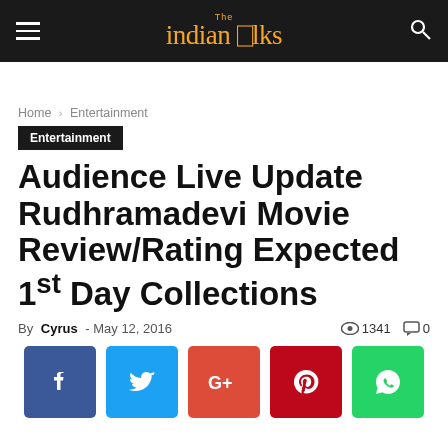The Indian Talks
Home › Entertainment
Entertainment
Audience Live Update Rudhramadevi Movie Review/Rating Expected 1st Day Collections
By Cyrus - May 12, 2016  👁 1341  💬 0
[Figure (other): Social media share buttons: Facebook, Twitter, Google+, Pinterest, WhatsApp]